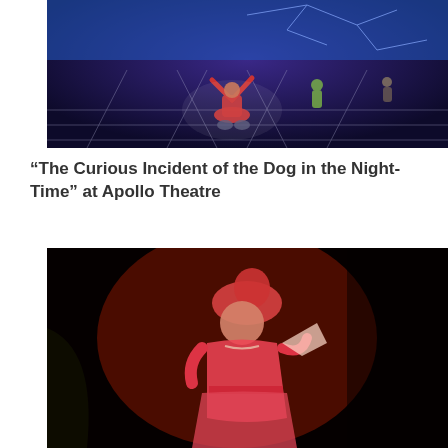[Figure (photo): Theater stage scene from 'The Curious Incident of the Dog in the Night-Time' at Apollo Theatre. A performer kneels with arms raised on a dark stage with glowing geometric grid lines. Other performers visible in background against a blue illuminated backdrop.]
“The Curious Incident of the Dog in the Night-Time” at Apollo Theatre
[Figure (photo): A performer in pink/red costume with elaborate headpiece illuminated by red stage lighting against a dark black background. The performer appears to be in mid-performance on stage.]